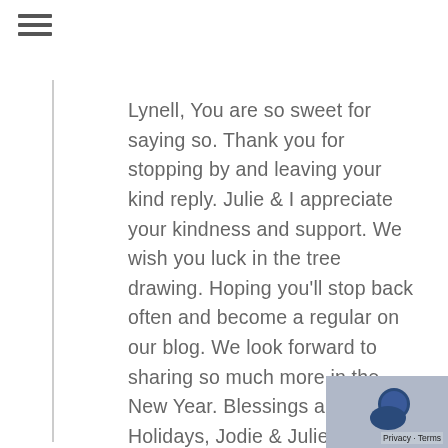≡
Lynell, You are so sweet for saying so. Thank you for stopping by and leaving your kind reply. Julie & I appreciate your kindness and support. We wish you luck in the tree drawing. Hoping you'll stop back often and become a regular on our blog. We look forward to sharing so much more in the New Year. Blessings and Happy Holidays, Jodie & Julie